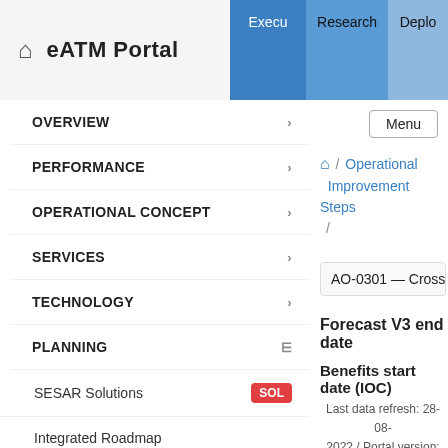eATM Portal
OVERVIEW
PERFORMANCE
OPERATIONAL CONCEPT
SERVICES
TECHNOLOGY
PLANNING
SESAR Solutions
Integrated Roadmap
Operational Improvement Steps
Operational Improvement Steps
AO-0301 — Crosswind Re
Forecast V3 end date
Benefits start date (IOC)
Last data refresh: 28-08-2022 / Portal version: 1.0.85.4.4170 (LDB)